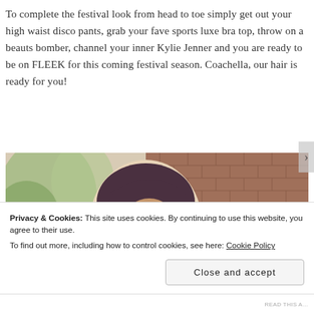To complete the festival look from head to toe simply get out your high waist disco pants, grab your fave sports luxe bra top, throw on a beauts bomber, channel your inner Kylie Jenner and you are ready to be on FLEEK for this coming festival season. Coachella, our hair is ready for you!
[Figure (photo): A person with purple/dark hair looking down, standing in front of a brick wall with foliage visible in the background.]
Privacy & Cookies: This site uses cookies. By continuing to use this website, you agree to their use.
To find out more, including how to control cookies, see here: Cookie Policy
Close and accept
READ THIS A...